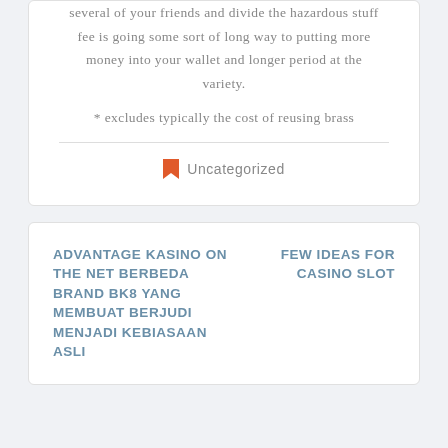several of your friends and divide the hazardous stuff fee is going some sort of long way to putting more money into your wallet and longer period at the variety.
* excludes typically the cost of reusing brass
Uncategorized
ADVANTAGE KASINO ON THE NET BERBEDA BRAND BK8 YANG MEMBUAT BERJUDI MENJADI KEBIASAAN ASLI
FEW IDEAS FOR CASINO SLOT